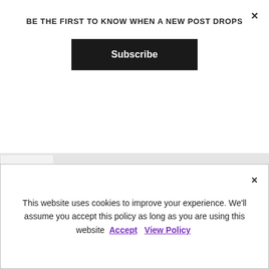BE THE FIRST TO KNOW WHEN A NEW POST DROPS
Subscribe
[Figure (photo): Flat lay photo showing documents/letters and a green plant branch on a white surface]
Also, I really feel like someone will go ahead to finish
This website uses cookies to improve your experience. We'll assume you accept this policy as long as you are using this website Accept View Policy